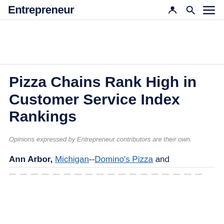Entrepreneur
Pizza Chains Rank High in Customer Service Index Rankings
Opinions expressed by Entrepreneur contributors are their own.
Ann Arbor, Michigan--Domino's Pizza and